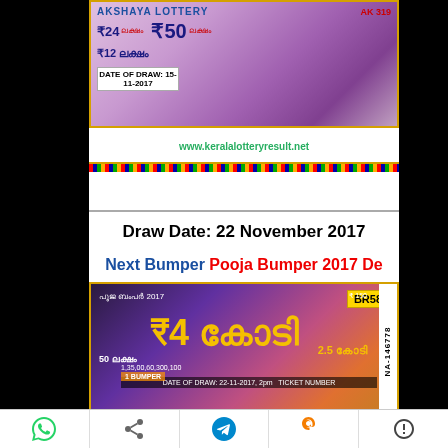[Figure (photo): Akshaya Lottery AK 319 ticket image showing prizes ₹24 lakhs, ₹50 lakhs, ₹12 lakhs, draw date 15-11-2017 with URL www.keralalotteryresult.net]
Draw Date: 22 November 2017
Next Bumper Pooja Bumper 2017 De
[Figure (photo): Pooja Bumper 2017 BR58 lottery ticket showing ₹4 Crore prize, draw date 22-11-2017, ticket number NA-146778, URL www.keralalotteryresult.net]
Prize Structure of